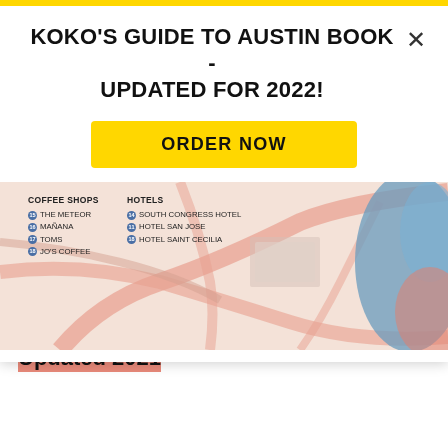KOKO'S GUIDE TO AUSTIN BOOK - UPDATED FOR 2022!
ORDER NOW
[Figure (map): Partial map of Austin showing coffee shops and hotels. Coffee Shops: The Meteor, Mañana, Toms, Jo's Coffee. Hotels: South Congress Hotel, Hotel San Jose, Hotel Saint Cecilia.]
SEE ALSO:
45 Top Things To Do In Austin, Texas, Updated 2021